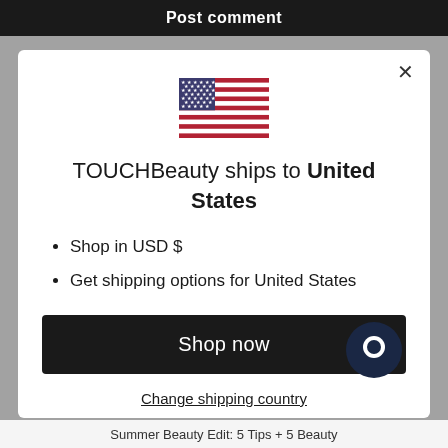Post comment
[Figure (illustration): US flag emoji/icon centered in modal]
TOUCHBeauty ships to United States
Shop in USD $
Get shipping options for United States
Shop now
Change shipping country
Summer Beauty Edit: 5 Tips + 5 Beauty